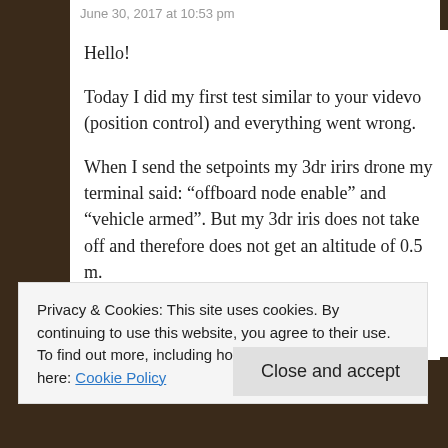June 30, 2017 at 10:53 pm
Hello!
Today I did my first test similar to your videvo (position control) and everything went wrong.
When I send the setpoints my 3dr irirs drone my terminal said: “offboard node enable” and “vehicle armed”. But my 3dr iris does not take off and therefore does not get an altitude of 0.5 m.
My iris drone is only moving on the
Privacy & Cookies: This site uses cookies. By continuing to use this website, you agree to their use.
To find out more, including how to control cookies, see here: Cookie Policy
Close and accept